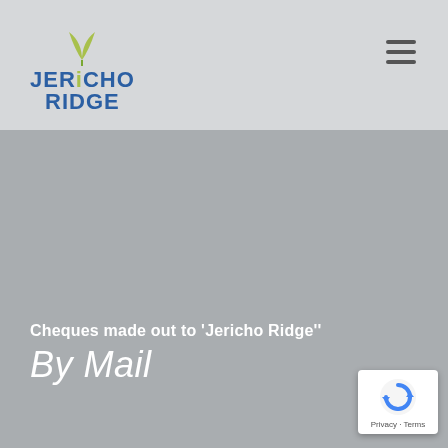Jericho Ridge
[Figure (logo): Jericho Ridge logo with green plant icon above the text JERiCHO RIDGE in blue]
[Figure (other): Large grey background image filling the main content area]
Cheques made out to 'Jericho Ridge''
By Mail
[Figure (other): Google reCAPTCHA badge with blue arrow icon and Privacy - Terms text]